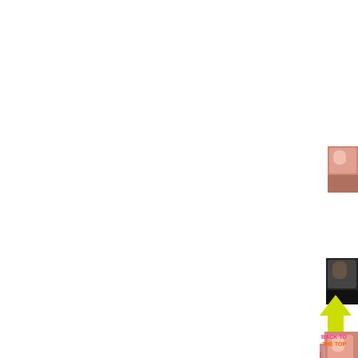[Figure (photo): Small thumbnail photo, partially cropped at right edge, showing a person or scene with pink/warm tones, positioned in upper right area]
[Figure (photo): Small thumbnail photo, partially cropped at right edge, showing a person with dark hair, positioned in lower right area]
BACK TO THE TOP